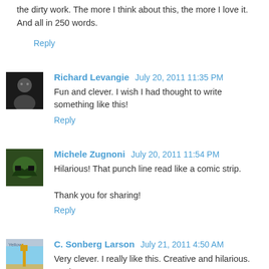the dirty work. The more I think about this, the more I love it. And all in 250 words.
Reply
Richard Levangie  July 20, 2011 11:35 PM
Fun and clever. I wish I had thought to write something like this!
Reply
Michele Zugnoni  July 20, 2011 11:54 PM
Hilarious! That punch line read like a comic strip.

Thank you for sharing!
Reply
C. Sonberg Larson  July 21, 2011 4:50 AM
Very clever. I really like this. Creative and hilarious. Such